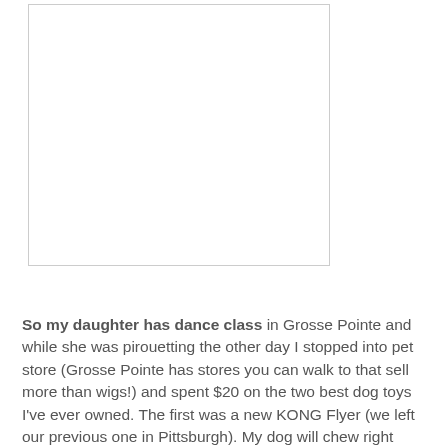[Figure (photo): White/blank image placeholder with light border]
So my daughter has dance class in Grosse Pointe and while she was pirouetting the other day I stopped into pet store (Grosse Pointe has stores you can walk to that sell more than wigs!) and spent $20 on the two best dog toys I've ever owned. The first was a new KONG Flyer (we left our previous one in Pittsburgh). My dog will chew right through an ordinary frisbee in one trip to the park, but he's so good at catching them. I go through one of these KONG frisbee things every six months or so of everyday use, but even better than its indestructability is the way it flies. I've got it down to a science how to throw these things 75 yards or so,